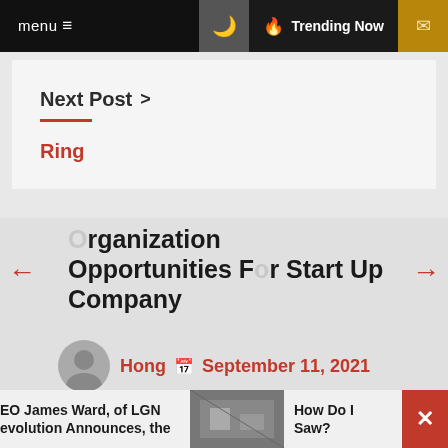menu  ☰   🌙   🔥 Trending Now   ✉
Next Post >
Ring
Organization Opportunities For Start Up Company
Hong  📅  September 11, 2021
Cheap wholesale jewelry Today's retailing peddle is but fills with challenge. To mature and survive in the industry, brand-new and improve items at affordable
EO James Ward, of LGN evolution Announces, the
How Do I Saw?
[Figure (other): 63% progress/donut indicator circle]